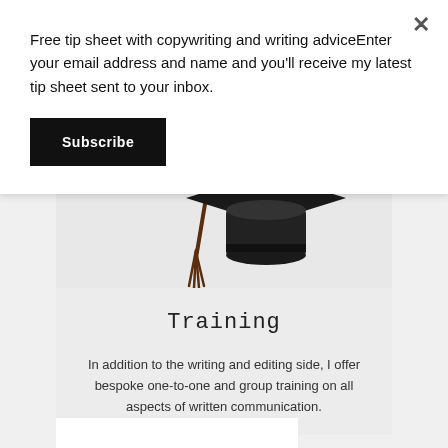Free tip sheet with copywriting and writing adviceEnter your email address and name and you'll receive my latest tip sheet sent to your inbox.
Subscribe
[Figure (illustration): Graduation cap (mortarboard) with brown tassel, photographed against a light grey background, partially cropped at top.]
Training
In addition to the writing and editing side, I offer bespoke one-to-one and group training on all aspects of written communication.